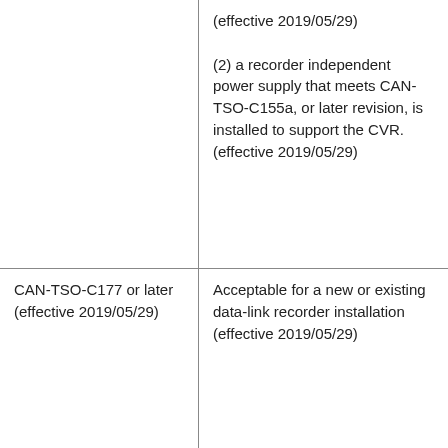|  | (effective 2019/05/29)

(2) a recorder independent power supply that meets CAN-TSO-C155a, or later revision, is installed to support the CVR.
(effective 2019/05/29) |
| CAN-TSO-C177 or later (effective 2019/05/29) | Acceptable for a new or existing data-link recorder installation (effective 2019/05/29) |